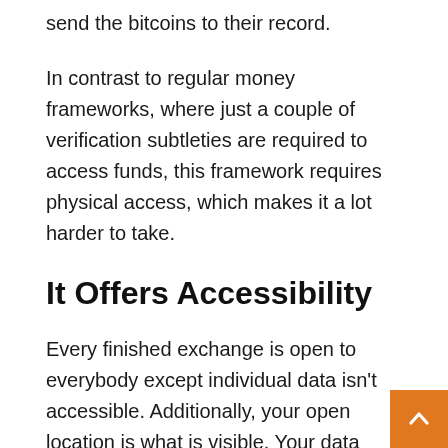send the bitcoins to their record.
In contrast to regular money frameworks, where just a couple of verification subtleties are required to access funds, this framework requires physical access, which makes it a lot harder to take.
It Offers Accessibility
Every finished exchange is open to everybody except individual data isn't accessible. Additionally, your open location is what is visible. Your data isn't. Because of the bitcoin blockchain, anybody can confirm exchanges whenever. The framework can't be messed with by anybody or any association because Bitcoin